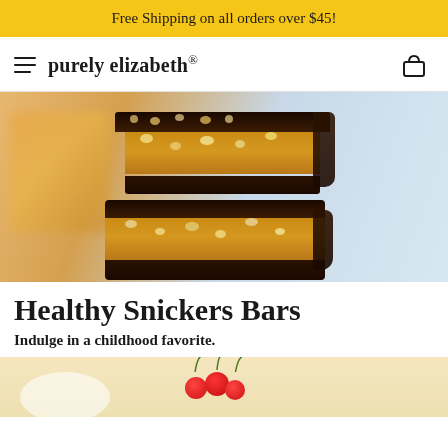Free Shipping on all orders over $45!
[Figure (logo): purely elizabeth brand logo with hamburger menu icon on left and basket icon on right]
[Figure (photo): Two stacked chocolate-covered snickers-style bars with visible caramel and nut filling, on a blurred background with orange and blue tones]
Healthy Snickers Bars
Indulge in a childhood favorite.
[Figure (photo): Partial view of ingredients including red cherries and a bowl, cropped at bottom of page]